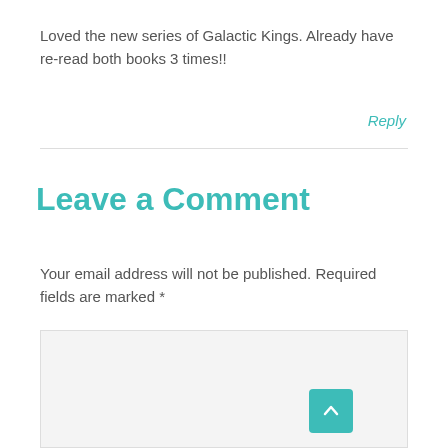Loved the new series of Galactic Kings. Already have re-read both books 3 times!!
Reply
Leave a Comment
Your email address will not be published. Required fields are marked *
[Figure (other): Comment text input area with placeholder text 'Type here..' and a teal scroll-to-top button in the bottom right corner]